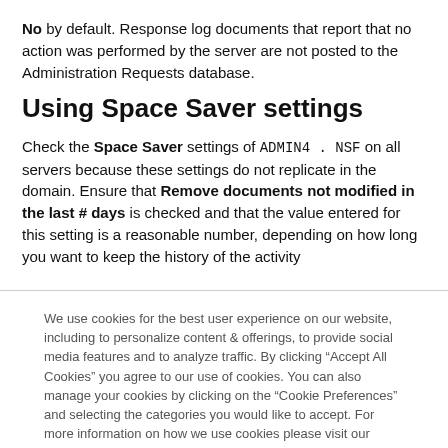No by default. Response log documents that report that no action was performed by the server are not posted to the Administration Requests database.
Using Space Saver settings
Check the Space Saver settings of ADMIN4.NSF on all servers because these settings do not replicate in the domain. Ensure that Remove documents not modified in the last # days is checked and that the value entered for this setting is a reasonable number, depending on how long you want to keep the history of the activity
We use cookies for the best user experience on our website, including to personalize content & offerings, to provide social media features and to analyze traffic. By clicking “Accept All Cookies” you agree to our use of cookies. You can also manage your cookies by clicking on the “Cookie Preferences” and selecting the categories you would like to accept. For more information on how we use cookies please visit our Cookie Statement and Privacy Statement